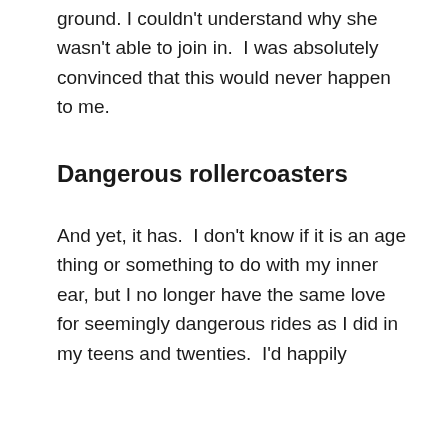ground. I couldn't understand why she wasn't able to join in.  I was absolutely convinced that this would never happen to me.
Dangerous rollercoasters
And yet, it has.  I don't know if it is an age thing or something to do with my inner ear, but I no longer have the same love for seemingly dangerous rides as I did in my teens and twenties.  I'd happily